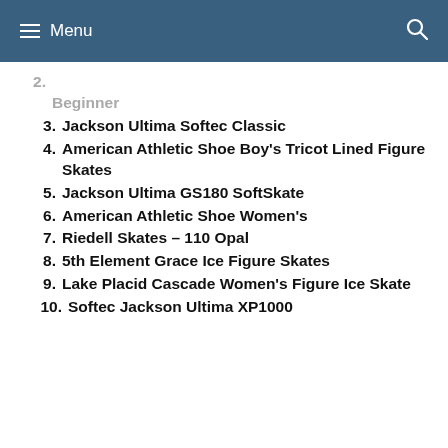Menu
Beginner
3. Jackson Ultima Softec Classic
4. American Athletic Shoe Boy's Tricot Lined Figure Skates
5. Jackson Ultima GS180 SoftSkate
6. American Athletic Shoe Women's
7. Riedell Skates – 110 Opal
8. 5th Element Grace Ice Figure Skates
9. Lake Placid Cascade Women's Figure Ice Skate
10. Softec Jackson Ultima XP1000